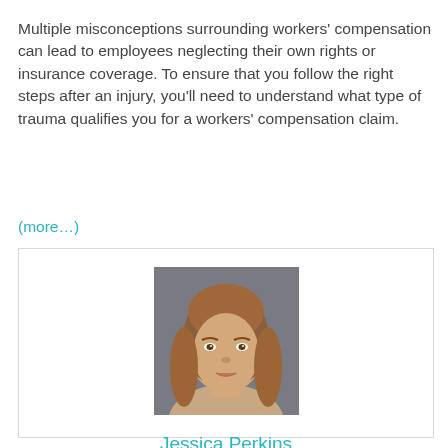Multiple misconceptions surrounding workers' compensation can lead to employees neglecting their own rights or insurance coverage. To ensure that you follow the right steps after an injury, you'll need to understand what type of trauma qualifies you for a workers' compensation claim.
(more...)
[Figure (photo): Portrait photo of a young woman with long brown hair against a gray background, centered in an author bio card.]
Jessica Perkins
www.jessperkins.me/